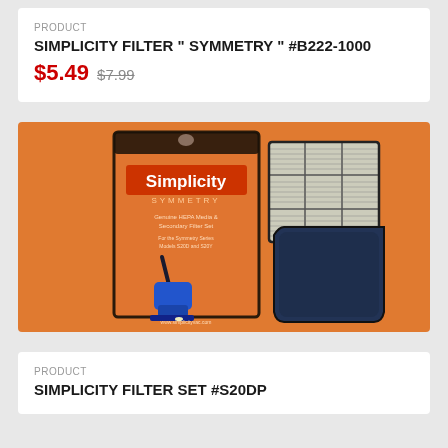PRODUCT
SIMPLICITY FILTER " SYMMETRY " #B222-1000
$5.49 $7.99
[Figure (photo): Simplicity Symmetry vacuum filter set product packaging box (orange) showing a blue upright vacuum cleaner, alongside HEPA filter and foam filter components]
PRODUCT
SIMPLICITY FILTER SET #S20DP